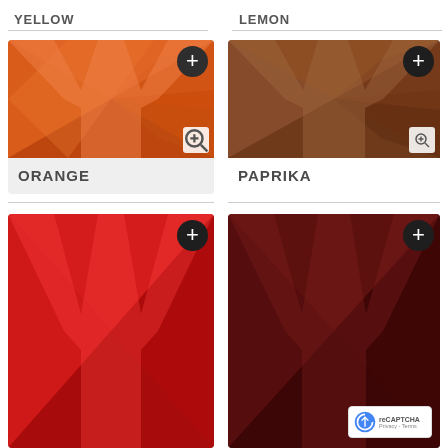YELLOW
LEMON
[Figure (photo): Orange geometric/fabric texture in shades of orange, with a Y-shaped design]
ORANGE
[Figure (photo): Brown/tan geometric/fabric texture with a Y-shaped design]
PAPRIKA
[Figure (photo): Red geometric/fabric texture with a Y-shaped design (partially visible)]
[Figure (photo): Dark red/maroon geometric/fabric texture with a Y-shaped design (partially visible)]